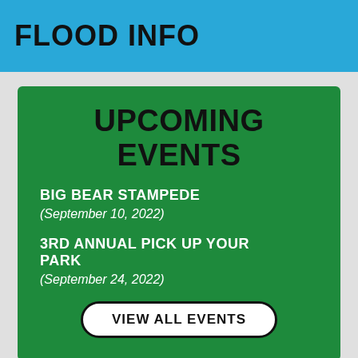FLOOD INFO
UPCOMING EVENTS
BIG BEAR STAMPEDE
(September 10, 2022)
3RD ANNUAL PICK UP YOUR PARK
(September 24, 2022)
VIEW ALL EVENTS